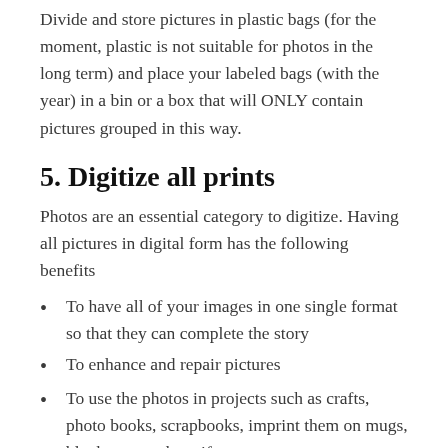Divide and store pictures in plastic bags (for the moment, plastic is not suitable for photos in the long term) and place your labeled bags (with the year) in a bin or a box that will ONLY contain pictures grouped in this way.
5. Digitize all prints
Photos are an essential category to digitize. Having all pictures in digital form has the following benefits
To have all of your images in one single format so that they can complete the story
To enhance and repair pictures
To use the photos in projects such as crafts, photo books, scrapbooks, imprint them on mugs, blankets, or other gifts
To intentionally select images to display at home or office
To ...